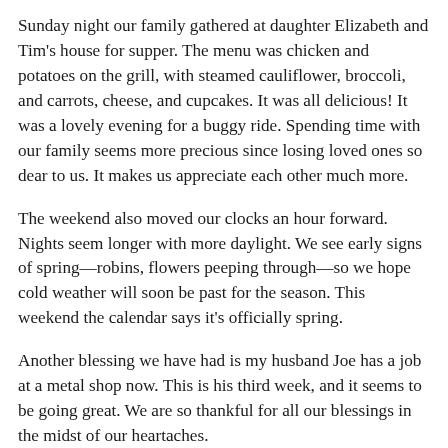Sunday night our family gathered at daughter Elizabeth and Tim's house for supper. The menu was chicken and potatoes on the grill, with steamed cauliflower, broccoli, and carrots, cheese, and cupcakes. It was all delicious! It was a lovely evening for a buggy ride. Spending time with our family seems more precious since losing loved ones so dear to us. It makes us appreciate each other much more.
The weekend also moved our clocks an hour forward. Nights seem longer with more daylight. We see early signs of spring—robins, flowers peeping through—so we hope cold weather will soon be past for the season. This weekend the calendar says it's officially spring.
Another blessing we have had is my husband Joe has a job at a metal shop now. This is his third week, and it seems to be going great. We are so thankful for all our blessings in the midst of our heartaches.